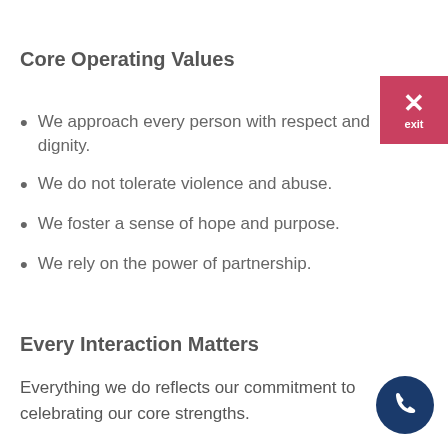Core Operating Values
We approach every person with respect and dignity.
We do not tolerate violence and abuse.
We foster a sense of hope and purpose.
We rely on the power of partnership.
Every Interaction Matters
Everything we do reflects our commitment to celebrating our core strengths.